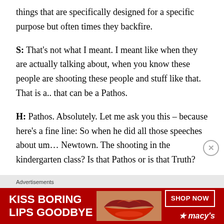things that are specifically designed for a specific purpose but often times they backfire.
S: That's not what I meant. I meant like when they are actually talking about, when you know these people are shooting these people and stuff like that. That is a.. that can be a Pathos.
H: Pathos. Absolutely. Let me ask you this – because here's a fine line: So when he did all those speeches about um… Newtown. The shooting in the kindergarten class? Is that Pathos or is that Truth?
[Silence]
[Figure (other): Advertisement banner for Macy's: 'KISS BORING LIPS GOODBYE' with a photo of lips and 'SHOP NOW ★ macy's' button on red background]